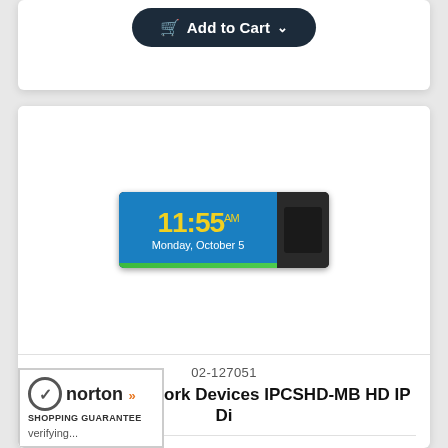[Figure (screenshot): Add to Cart button (dark navy rounded button with orange cart icon) at top of page]
[Figure (photo): Product image of Advanced Network Devices IPCSHD-MB HD IP Digital Clock showing a rectangular device with blue LCD screen displaying 11:55 AM Monday October 5]
02-127051
Advanced Network Devices IPCSHD-MB HD IP Di
$1,199.99
[Figure (screenshot): Add to Cart button (dark navy rounded button with orange cart icon and dropdown arrow)]
[Figure (logo): Norton Shopping Guarantee badge with checkmark, norton logo with double chevrons, and verifying... text]